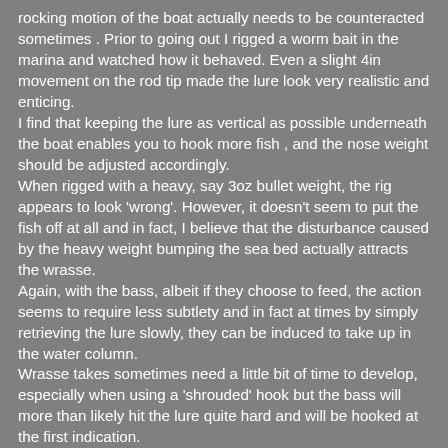rocking motion of the boat actually needs to be counteracted sometimes . Prior to going out I rigged a worm bait in the marina and watched how it behaved. Even a slight 4in movement on the rod tip made the lure look very realistic and enticing.
I find that keeping the lure as vertical as possible underneath the boat enables you to hook more fish , and the nose weight should be adjusted accordingly.
When rigged with a heavy, say 3oz bullet weight, the rig appears to look 'wrong'. However, it doesn't seem to put the fish off at all and in fact, I believe that the disturbance caused by the heavy weight bumping the sea bed actually attracts the wrasse.
Again, with the bass, albeit if they choose to feed, the action seems to require less subtlety and in fact at times by simply retrieving the lure slowly, they can be induced to take up in the water column.
Wrasse takes sometimes need a little bit of time to develop, especially when using a 'shrouded' hook but the bass will more than likely hit the lure quite hard and will be hooked at the first indication.
As soon as we arrived at the mark it was clear on the